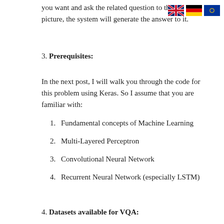you want and ask the related question to the picture, the system will generate the answer to it.
[Figure (illustration): Three flag icons: UK flag, German flag, EU flag]
3. Prerequisites:
In the next post, I will walk you through the code for this problem using Keras. So I assume that you are familiar with:
Fundamental concepts of Machine Learning
Multi-Layered Perceptron
Convolutional Neural Network
Recurrent Neural Network (especially LSTM)
Gradient Descent and Backpropagation
Transfer Learning
Hyperparameter Optimization
Python and Keras syntax
4. Datasets available for VQA: